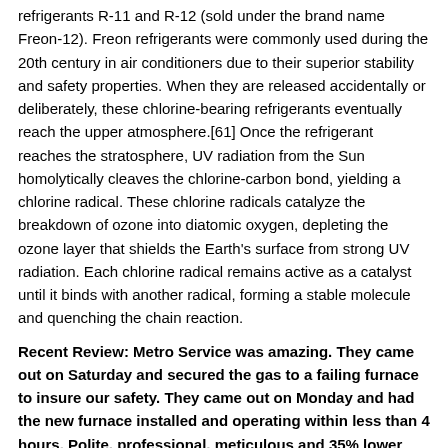refrigerants R-11 and R-12 (sold under the brand name Freon-12). Freon refrigerants were commonly used during the 20th century in air conditioners due to their superior stability and safety properties. When they are released accidentally or deliberately, these chlorine-bearing refrigerants eventually reach the upper atmosphere.[61] Once the refrigerant reaches the stratosphere, UV radiation from the Sun homolytically cleaves the chlorine-carbon bond, yielding a chlorine radical. These chlorine radicals catalyze the breakdown of ozone into diatomic oxygen, depleting the ozone layer that shields the Earth's surface from strong UV radiation. Each chlorine radical remains active as a catalyst until it binds with another radical, forming a stable molecule and quenching the chain reaction.
Recent Review: Metro Service was amazing. They came out on Saturday and secured the gas to a failing furnace to insure our safety. They came out on Monday and had the new furnace installed and operating within less than 4 hours. Polite, professional, meticulous and 35% lower than their competitors. I will be using them for all of my HVAC needs in the future.